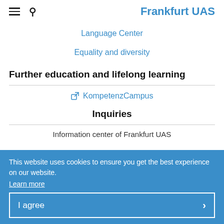Frankfurt UAS
Language Center
Equality and diversity
Further education and lifelong learning
KompetenzCampus
Inquiries
Information center of Frankfurt UAS
This website uses cookies to ensure you get the best experience on our website.
Learn more
I agree